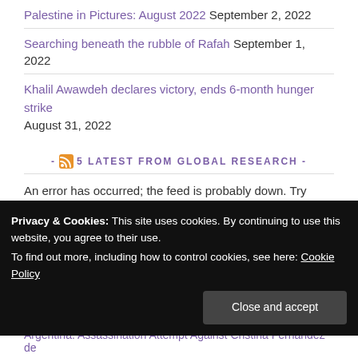Palestine in Pictures: August 2022  September 2, 2022
Searching beneath the rubble of Rafah  September 1, 2022
Khalil Awawdeh declares victory, ends 6-month hunger strike  August 31, 2022
- 5 LATEST FROM GLOBAL RESEARCH -
An error has occurred; the feed is probably down. Try again later.
Privacy & Cookies: This site uses cookies. By continuing to use this website, you agree to their use.
To find out more, including how to control cookies, see here: Cookie Policy
Close and accept
Argentina: Assassination Attempt Against Cristina Fernández de